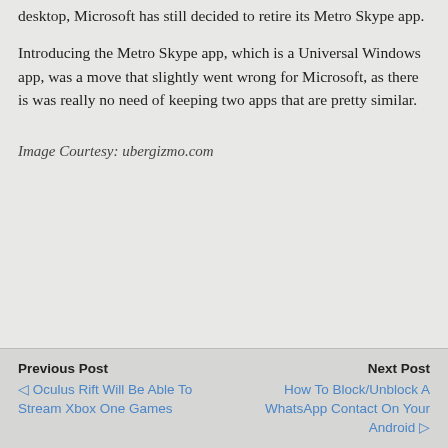desktop, Microsoft has still decided to retire its Metro Skype app.
Introducing the Metro Skype app, which is a Universal Windows app, was a move that slightly went wrong for Microsoft, as there is was really no need of keeping two apps that are pretty similar.
Image Courtesy: ubergizmo.com
Previous Post
◁ Oculus Rift Will Be Able To Stream Xbox One Games

Next Post
How To Block/Unblock A WhatsApp Contact On Your Android ▷